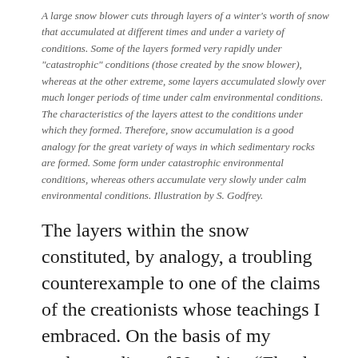A large snow blower cuts through layers of a winter's worth of snow that accumulated at different times and under a variety of conditions. Some of the layers formed very rapidly under "catastrophic" conditions (those created by the snow blower), whereas at the other extreme, some layers accumulated slowly over much longer periods of time under calm environmental conditions. The characteristics of the layers attest to the conditions under which they formed. Therefore, snow accumulation is a good analogy for the great variety of ways in which sedimentary rocks are formed. Some form under catastrophic environmental conditions, whereas others accumulate very slowly under calm environmental conditions. Illustration by S. Godfrey.
The layers within the snow constituted, by analogy, a troubling counterexample to one of the claims of the creationists whose teachings I embraced. On the basis of my understanding of Noachian “Flood Geology”, I expected that if a